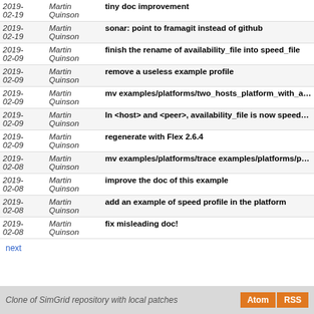| Date | Author | Message |
| --- | --- | --- |
| 2019-02-19 | Martin Quinson | tiny doc improvement |
| 2019-02-19 | Martin Quinson | sonar: point to framagit instead of github |
| 2019-02-09 | Martin Quinson | finish the rename of availability_file into speed_file |
| 2019-02-09 | Martin Quinson | remove a useless example profile |
| 2019-02-09 | Martin Quinson | mv examples/platforms/two_hosts_platform_with_availa... |
| 2019-02-09 | Martin Quinson | In <host> and <peer>, availability_file is now speed_f... |
| 2019-02-09 | Martin Quinson | regenerate with Flex 2.6.4 |
| 2019-02-08 | Martin Quinson | mv examples/platforms/trace examples/platforms/pro... |
| 2019-02-08 | Martin Quinson | improve the doc of this example |
| 2019-02-08 | Martin Quinson | add an example of speed profile in the platform |
| 2019-02-08 | Martin Quinson | fix misleading doc! |
next
Clone of SimGrid repository with local patches